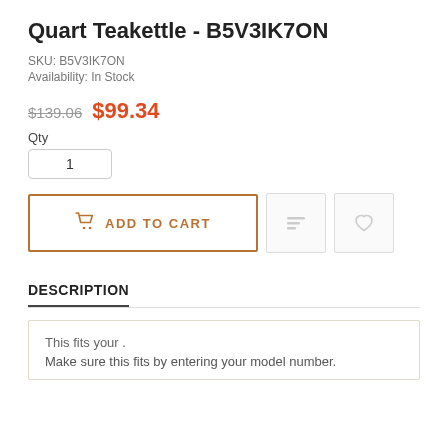Quart Teakettle - B5V3IK7ON
SKU: B5V3IK7ON
Availability: In Stock
$139.06  $99.34
Qty
1
ADD TO CART
DESCRIPTION
This fits your .
Make sure this fits by entering your model number.